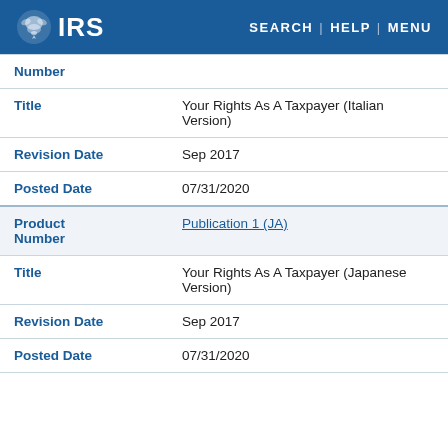IRS — SEARCH | HELP | MENU
| Field | Value |
| --- | --- |
| Number |  |
| Title | Your Rights As A Taxpayer (Italian Version) |
| Revision Date | Sep 2017 |
| Posted Date | 07/31/2020 |
| Product Number | Publication 1 (JA) |
| Title | Your Rights As A Taxpayer (Japanese Version) |
| Revision Date | Sep 2017 |
| Posted Date | 07/31/2020 |